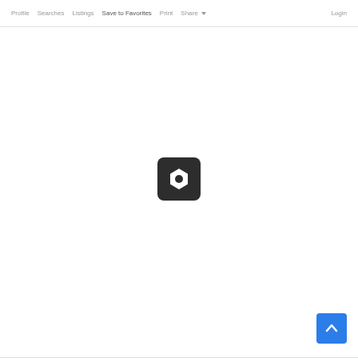Profile  Searches  Listings  Save to Favorites  Print  Share  Login
[Figure (logo): Dark rounded square icon with a white hexagon/nut shape in the center, centered on the page]
[Figure (other): Blue scroll-to-top button with white upward chevron arrow, positioned bottom right]